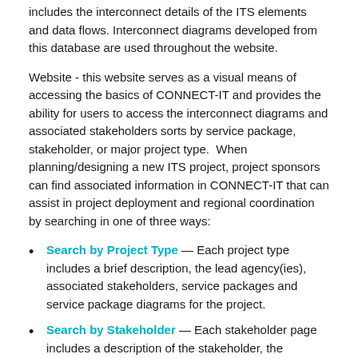includes the interconnect details of the ITS elements and data flows. Interconnect diagrams developed from this database are used throughout the website.
Website - this website serves as a visual means of accessing the basics of CONNECT-IT and provides the ability for users to access the interconnect diagrams and associated stakeholders sorts by service package, stakeholder, or major project type. When planning/designing a new ITS project, project sponsors can find associated information in CONNECT-IT that can assist in project deployment and regional coordination by searching in one of three ways:
Search by Project Type — Each project type includes a brief description, the lead agency(ies), associated stakeholders, service packages and service package diagrams for the project.
Search by Stakeholder — Each stakeholder page includes a description of the stakeholder, the stakeholder's ITS inventory elements, service packages